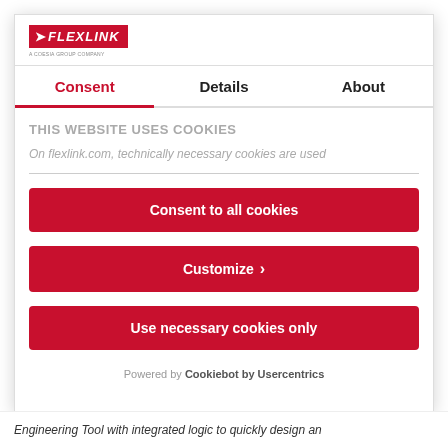[Figure (logo): FlexLink logo — red background with white italic text FLEXLINK and a chevron, subtitle text below]
Consent | Details | About
THIS WEBSITE USES COOKIES
On flexlink.com, technically necessary cookies are used
Consent to all cookies
Customize ›
Use necessary cookies only
Powered by Cookiebot by Usercentrics
Engineering Tool with integrated logic to quickly design an